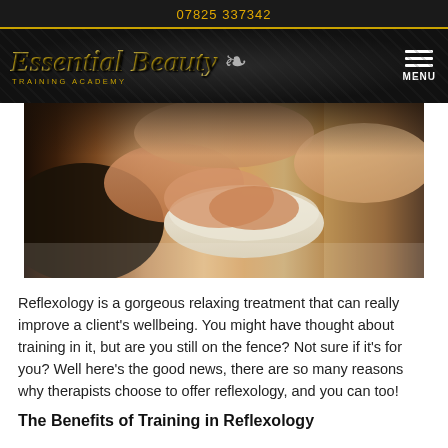07825 337342
[Figure (logo): Essential Beauty Training Academy logo with gold italic script text and face silhouette icon on dark damask background, with hamburger menu icon and MENU label]
[Figure (photo): Close-up photo of a reflexology treatment: therapist's hands massaging a client's feet, with a white rolled towel visible, warm tones]
Reflexology is a gorgeous relaxing treatment that can really improve a client's wellbeing. You might have thought about training in it, but are you still on the fence? Not sure if it's for you? Well here's the good news, there are so many reasons why therapists choose to offer reflexology, and you can too!
The Benefits of Training in Reflexology